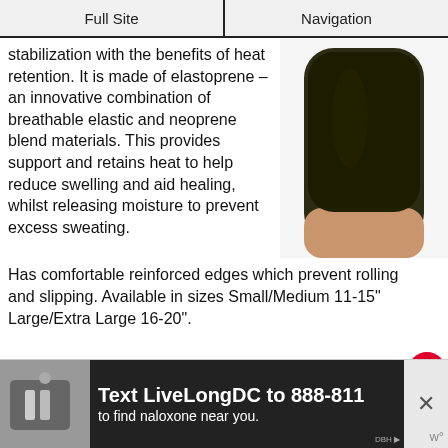Full Site | Navigation
stabilization with the benefits of heat retention. It is made of elastoprene – an innovative combination of breathable elastic and neoprene blend materials. This provides support and retains heat to help reduce swelling and aid healing, whilst releasing moisture to prevent excess sweating.
[Figure (photo): Black elastoprene knee sleeve/support shown on a person's leg, viewed from behind, against a white background.]
Has comfortable reinforced edges which prevent rolling and slipping. Available in sizes Small/Medium 11-15" Large/Extra Large 16-20".
My Verdict: This is a great simple pull up sleeve that provides...
[Figure (infographic): Advertisement banner: Text LiveLongDC to 888-811 to find naloxone near you.]